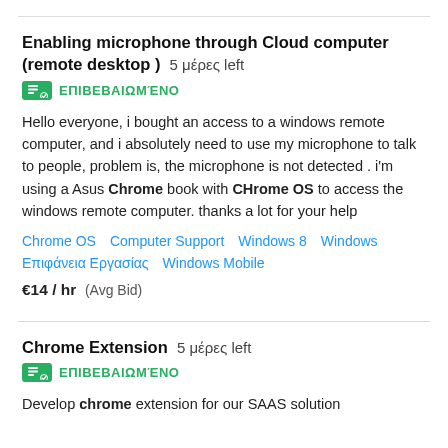Enabling microphone through Cloud computer (remote desktop )  5 μέρες left
ΕΠΙΒΕΒΑΙΩΜΈΝΟ
Hello everyone, i bought an access to a windows remote computer, and i absolutely need to use my microphone to talk to people, problem is, the microphone is not detected . i'm using a Asus Chrome book with CHrome OS to access the windows remote computer. thanks a lot for your help
Chrome OS   Computer Support   Windows 8   Windows   Επιφάνεια Εργασίας   Windows Mobile
€14 / hr   (Avg Bid)
Chrome Extension   5 μέρες left
ΕΠΙΒΕΒΑΙΩΜΈΝΟ
Develop chrome extension for our SAAS solution